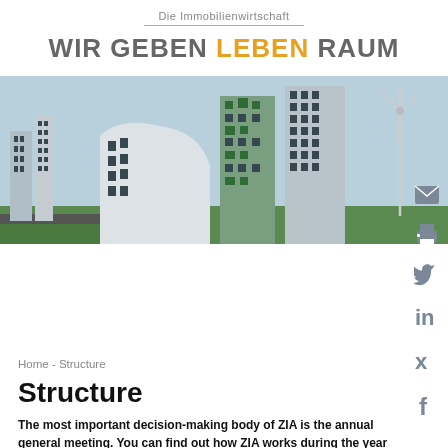Die Immobilienwirtschaft
WIR GEBEN LEBEN RAUM
[Figure (photo): Hero image of modern sustainable city buildings with green vegetation and wind turbines]
Home - Structure
Structure
The most important decision-making body of ZIA is the annual general meeting. You can find out how ZIA works during the year below.